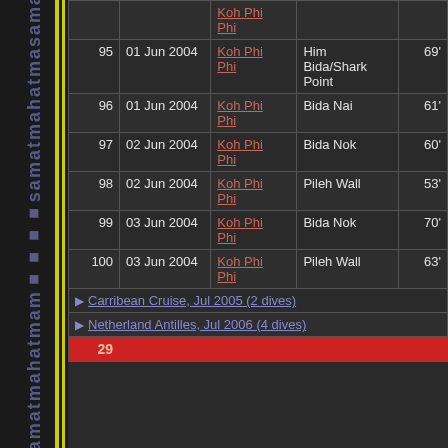| # | Date | Location | Site | Depth |
| --- | --- | --- | --- | --- |
|  |  | Koh Phi Phi |  |  |
| 95 | 01 Jun 2004 | Koh Phi Phi | Him Bida/Shark Point | 69' |
| 96 | 01 Jun 2004 | Koh Phi Phi | Bida Nai | 61' |
| 97 | 02 Jun 2004 | Koh Phi Phi | Bida Nok | 60' |
| 98 | 02 Jun 2004 | Koh Phi Phi | Pileh Wall | 53' |
| 99 | 03 Jun 2004 | Koh Phi Phi | Bida Nok | 70' |
| 100 | 03 Jun 2004 | Koh Phi Phi | Pileh Wall | 63' |
| ▶ Carribean Cruise, Jul 2005 (2 dives) |  |  |  |  |
| ▶ Netherland Antilles, Jul 2006 (4 dives) |  |  |  |  |
| 29 |  |  |  |  |